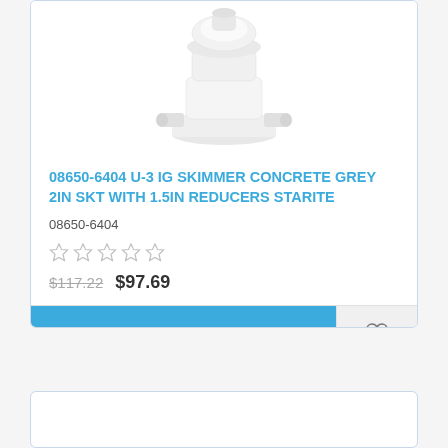[Figure (photo): White plastic pool skimmer fitting with multiple pipe connections, shown from above on white background]
08650-6404 U-3 IG SKIMMER CONCRETE GREY 2IN SKT WITH 1.5IN REDUCERS STARITE
08650-6404
[Figure (other): Five empty star rating icons in grey outline]
$117.22  $97.69
ADD TO CART